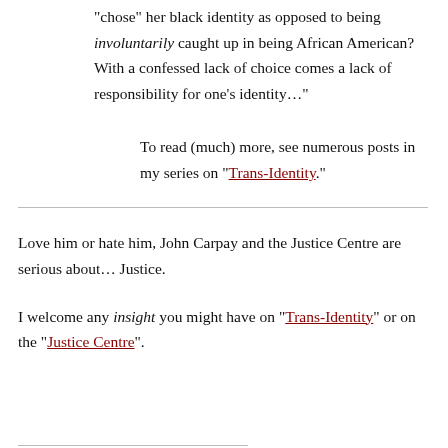“chose” her black identity as opposed to being involuntarily caught up in being African American? With a confessed lack of choice comes a lack of responsibility for one’s identity…”
To read (much) more, see numerous posts in my series on “Trans-Identity.”
Love him or hate him, John Carpay and the Justice Centre are serious about… Justice.
I welcome any insight you might have on “Trans-Identity” or on the “Justice Centre”.
Share this: More Enigma